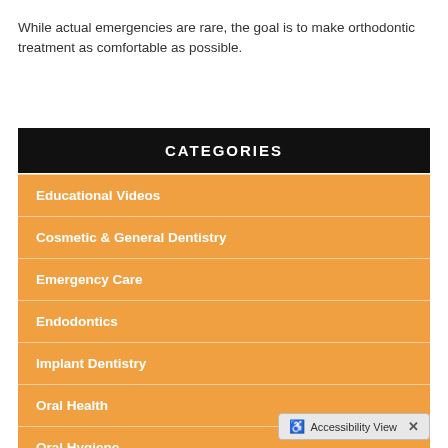While actual emergencies are rare, the goal is to make orthodontic treatment as comfortable as possible.
CATEGORIES
Educational Videos
Cosmetic & General Dentistry
Emergency Care
Endodontics
Implant Dentistry
Oral Health
Oral Hygiene